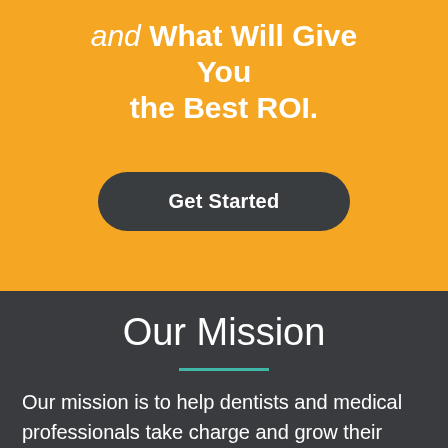and What Will Give You the Best ROI.
Get Started
Our Mission
Our mission is to help dentists and medical professionals take charge and grow their practice. Through the use of